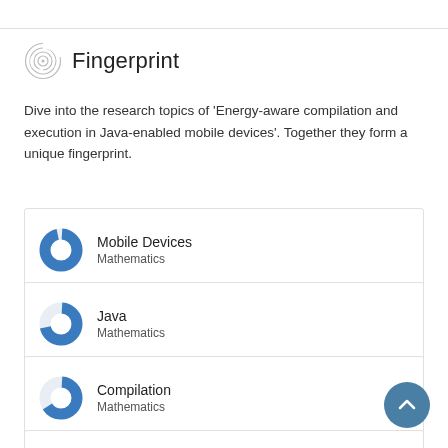Fingerprint
Dive into the research topics of 'Energy-aware compilation and execution in Java-enabled mobile devices'. Together they form a unique fingerprint.
Mobile Devices
Mathematics
Java
Mathematics
Compilation
Mathematics
Mobile computing
Engineering & Materials Science